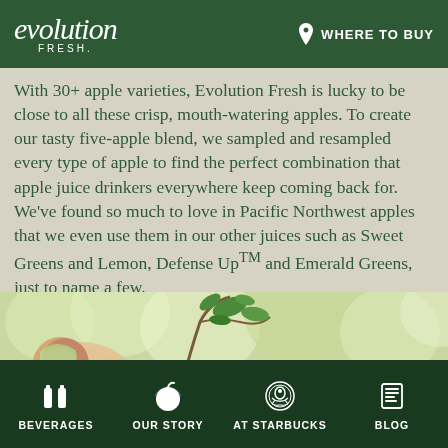evolution FRESH | WHERE TO BUY
With 30+ apple varieties, Evolution Fresh is lucky to be close to all these crisp, mouth-watering apples. To create our tasty five-apple blend, we sampled and resampled every type of apple to find the perfect combination that apple juice drinkers everywhere keep coming back for. We've found so much to love in Pacific Northwest apples that we even use them in our other juices such as Sweet Greens and Lemon, Defense UpTM and Emerald Greens, just to name a few.
[Figure (photo): Close-up photo of green apple tree branches with leaves and a hand holding an apple, blurred bokeh green background]
BEVERAGES | OUR STORY | AT STARBUCKS | BLOG